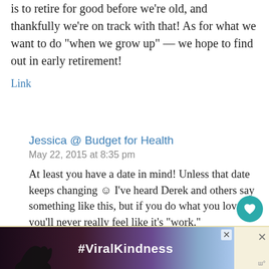is to retire for good before we’re old, and thankfully we’re on track with that! As for what we want to do “when we grow up” — we hope to find out in early retirement!
Link
Jessica @ Budget for Health
May 22, 2015 at 8:35 pm
At least you have a date in mind! Unless that date keeps changing ☺ I’ve heard Derek and others say something like this, but if you do what you love, you’ll never really feel like it’s “work.”
Link
[Figure (screenshot): #ViralKindness advertisement banner with hands forming a heart shape silhouette against a sunset sky, with a close button X]